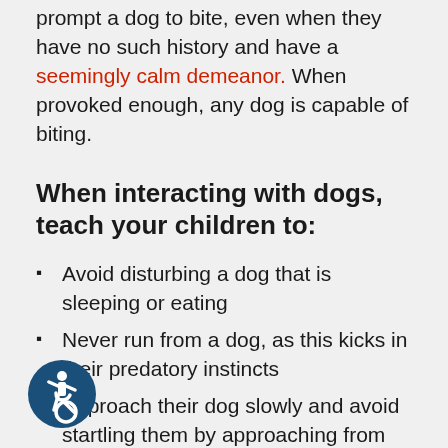your child must understand what can prompt a dog to bite, even when they have no such history and have a seemingly calm demeanor. When provoked enough, any dog is capable of biting.
When interacting with dogs, teach your children to:
Avoid disturbing a dog that is sleeping or eating
Never run from a dog, as this kicks in their predatory instincts
Approach their dog slowly and avoid startling them by approaching from behind
Always keep their face and head
[Figure (logo): Accessibility icon — white wheelchair user symbol on dark blue circle background]